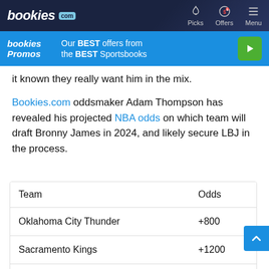bookies.com | Picks | Offers | Menu
[Figure (screenshot): Bookies Promos banner: Our BEST offers from the BEST Sportsbooks with green play button]
it known they really want him in the mix.
Bookies.com oddsmaker Adam Thompson has revealed his projected NBA odds on which team will draft Bronny James in 2024, and likely secure LBJ in the process.
| Team | Odds |
| --- | --- |
| Oklahoma City Thunder | +800 |
| Sacramento Kings | +1200 |
| Cleveland Cavaliers | +1500 |